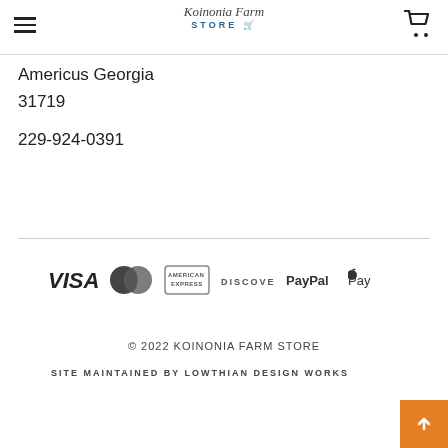Koinonia Farm Store
Americus Georgia
31719
229-924-0391
[Figure (other): Payment method logos: VISA, MasterCard, American Express, Discover, PayPal, Apple Pay]
© 2022 KOINONIA FARM STORE
SITE MAINTAINED BY LOWTHIAN DESIGN WORKS